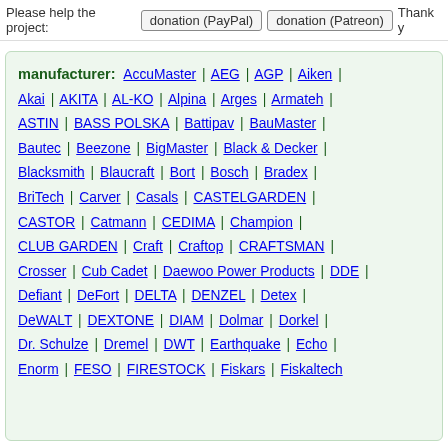Please help the project: donation (PayPal) | donation (Patreon) Thank y
manufacturer: AccuMaster | AEG | AGP | Aiken | Akai | AKITA | AL-KO | Alpina | Arges | Armateh | ASTIN | BASS POLSKA | Battipav | BauMaster | Bautec | Beezone | BigMaster | Black & Decker | Blacksmith | Blaucraft | Bort | Bosch | Bradex | BriTech | Carver | Casals | CASTELGARDEN | CASTOR | Catmann | CEDIMA | Champion | CLUB GARDEN | Craft | Craftop | CRAFTSMAN | Crosser | Cub Cadet | Daewoo Power Products | DDE | Defiant | DeFort | DELTA | DENZEL | Detex | DeWALT | DEXTONE | DIAM | Dolmar | Dorkel | Dr. Schulze | Dremel | DWT | Earthquake | Echo | Enorm | FESO | FIRESTOCK | Fiskars | Fiskaltech ...